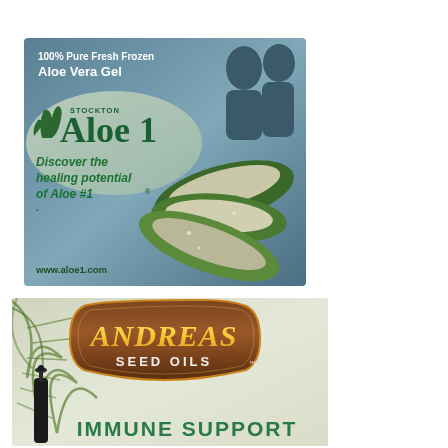[Figure (advertisement): Stockton Aloe 1 advertisement. Blue-gray background with silhouettes. Text reads: 100% Pure Fresh Frozen Aloe Vera Gel. Logo: STOCKTON Aloe 1 with aloe plant leaf icon. Green italic text: Discover the healing potential of Aloe #1®. Website: www.aloe1.com. Photo of sliced aloe vera leaves on right side.]
[Figure (advertisement): Andreas Seed Oils advertisement. Beige/green background with palm frond on left and dropper bottle. Brown arch-shaped badge with gold text ANDREAS and white text SEED OILS with TM mark. Green text at bottom: IMMUNE SUPPORT.]